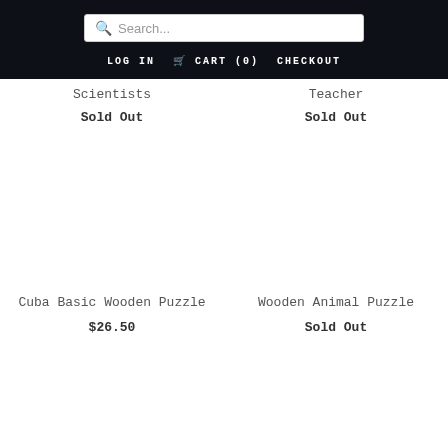Search... | LOG IN | CART (0) | CHECKOUT
Scientists
Sold Out
Teacher
Sold Out
[Figure (other): Product image area for Cuba Basic Wooden Puzzle (blank white)]
Cuba Basic Wooden Puzzle
$26.50
[Figure (other): Product image area for Wooden Animal Puzzle (blank white)]
Wooden Animal Puzzle
Sold Out